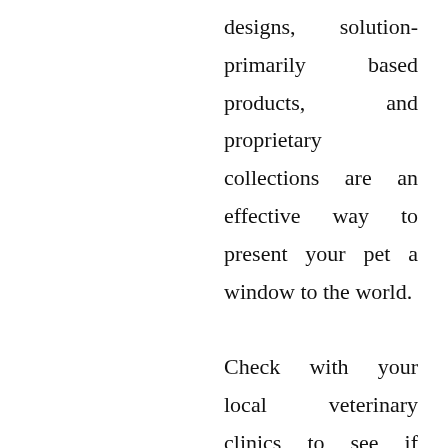designs, solution-primarily based products, and proprietary collections are an effective way to present your pet a window to the world.

Check with your local veterinary clinics to see if anyone is searching for the found animal. Generally pets were put within the care of keen locals, but when there was no speedy resolution at hand, as was most often the case, homeowners were pressured to leave their dogs